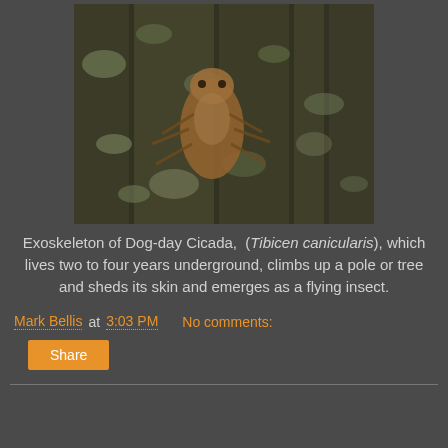[Figure (photo): Close-up photograph of a cicada exoskeleton (shed skin) clinging to a rough, lichen-covered tree bark or surface. The exoskeleton is brownish-tan in color. The background is dark gray.]
Exoskeleton of Dog-day Cicada,  (Tibicen canicularis), which lives two to four years underground, climbs up a pole or tree and sheds its skin and emerges as a flying insect.
Mark Bellis at 3:03 PM   No comments:
Share